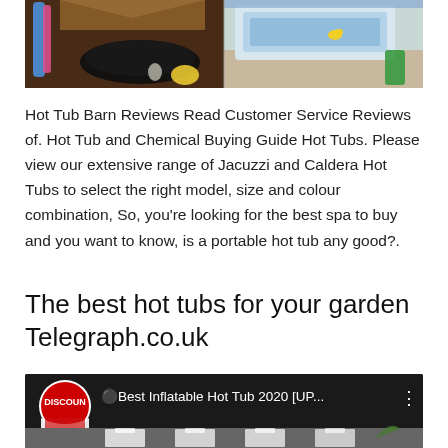[Figure (photo): Two hot tubs shown side by side — left shows a dark black hot tub in a wooden enclosure, right shows a lighter colored spa/hot tub on a deck with accessories.]
Hot Tub Barn Reviews Read Customer Service Reviews of. Hot Tub and Chemical Buying Guide Hot Tubs. Please view our extensive range of Jacuzzi and Caldera Hot Tubs to select the right model, size and colour combination, So, you're looking for the best spa to buy and you want to know, is a portable hot tub any good?.
The best hot tubs for your garden Telegraph.co.uk
[Figure (screenshot): YouTube video thumbnail showing 'DISCOUN' logo (circular red and white) and title '🔴Best Inflatable Hot Tub 2020 [UP...' with three-dot menu icon, with partial view of a hot tub showroom below.]